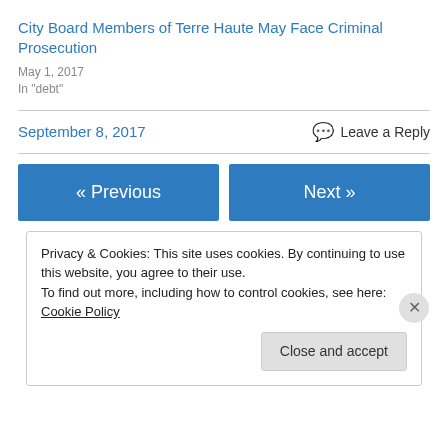City Board Members of Terre Haute May Face Criminal Prosecution
May 1, 2017
In "debt"
September 8, 2017
Leave a Reply
« Previous
Next »
Privacy & Cookies: This site uses cookies. By continuing to use this website, you agree to their use.
To find out more, including how to control cookies, see here: Cookie Policy
Close and accept